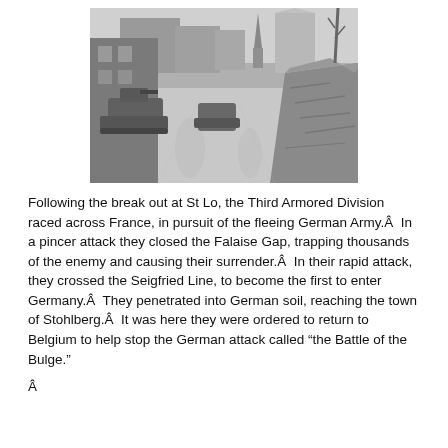[Figure (photo): Black and white historical photograph showing military tanks or armored vehicles moving through a war-damaged European street. Rubble is piled on the right side and damaged buildings line the left. A church steeple is visible in the background.]
Following the break out at St Lo, the Third Armored Division raced across France, in pursuit of the fleeing German Army.Â  In a pincer attack they closed the Falaise Gap, trapping thousands of the enemy and causing their surrender.Â  In their rapid attack, they crossed the Seigfried Line, to become the first to enter Germany.Â  They penetrated into German soil, reaching the town of Stohlberg.Â  It was here they were ordered to return to Belgium to help stop the German attack called “the Battle of the Bulge.”
Â